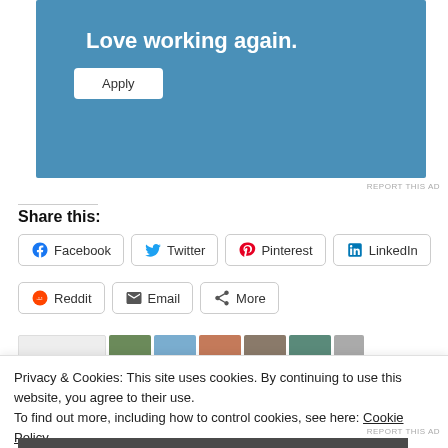[Figure (other): Advertisement banner with blue background, title 'Love working again.' and white 'Apply' button]
REPORT THIS AD
Share this:
Facebook  Twitter  Pinterest  LinkedIn
Reddit  Email  More
Privacy & Cookies: This site uses cookies. By continuing to use this website, you agree to their use. To find out more, including how to control cookies, see here: Cookie Policy
Close and accept